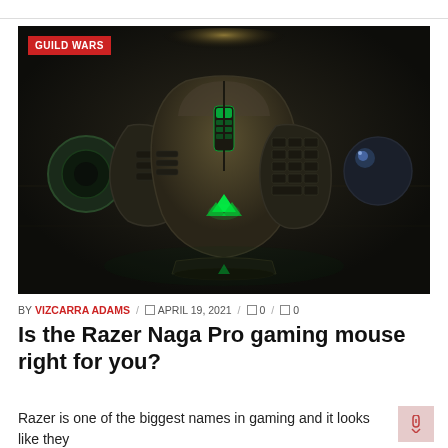[Figure (photo): Top-down product photo of a Razer Naga Pro gaming mouse with interchangeable side panels and accessories laid out on a dark surface. A red 'GUILD WARS' badge overlay appears in the top-left corner of the image.]
BY VIZCARRA ADAMS / □ APRIL 19, 2021 / □ 0 / □ 0
Is the Razer Naga Pro gaming mouse right for you?
Razer is one of the biggest names in gaming and it looks like they